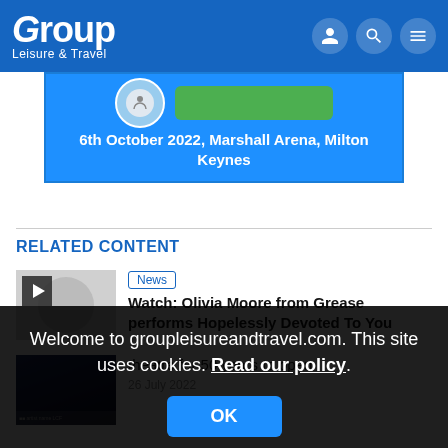Group Leisure & Travel
[Figure (screenshot): Advertisement banner for an event on 6th October 2022, Marshall Arena, Milton Keynes with circular image and green button]
RELATED CONTENT
[Figure (screenshot): Video thumbnail with play button for news item about Olivia Moore]
News
Watch: Olivia Moore from Grease performs Hopelessly Devoted To You
[Figure (screenshot): Dark thumbnail image of a theatre building]
theatre for 50 years to open
26 July 2022
Welcome to groupleisureandtravel.com. This site uses cookies. Read our policy.